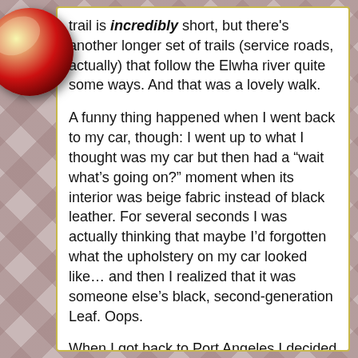trail is incredibly short, but there's another longer set of trails (service roads, actually) that follow the Elwha river quite some ways. And that was a lovely walk.
A funny thing happened when I went back to my car, though: I went up to what I thought was my car but then had a “wait what’s going on?” moment when its interior was beige fabric instead of black leather. For several seconds I was actually thinking that maybe I’d forgotten what the upholstery on my car looked like… and then I realized that it was someone else’s black, second-generation Leaf. Oops.
When I got back to Port Angeles I decided to go to the furry-themed barbecue joint, since I’d seen from the street that they were open after all. It turns out that the lies on the website were actually wrong in the opposite direction: Coyote BBQ has been revamped as a (non-furry) pub, specializing in seafood.
Which is disappointing, because there’s not a lot of barbecue out here, but there’s